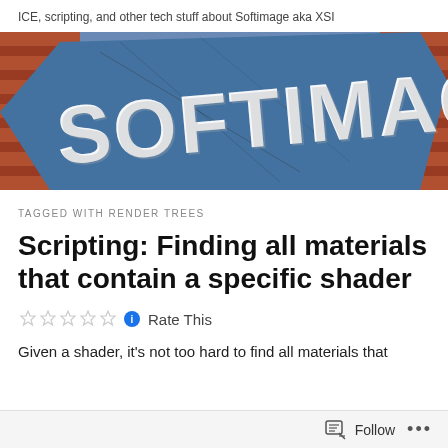ICE, scripting, and other tech stuff about Softimage aka XSI
[Figure (photo): Photograph of a blue building sign reading SOFTIMAGE with red brick visible at the edges]
TAGGED WITH RENDER TREES
Scripting: Finding all materials that contain a specific shader
Rate This
Given a shader, it's not too hard to find all materials that